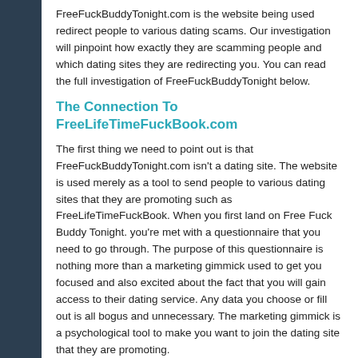FreeFuckBuddyTonight.com is the website being used redirect people to various dating scams. Our investigation will pinpoint how exactly they are scamming people and which dating sites they are redirecting you. You can read the full investigation of FreeFuckBuddyTonight below.
The Connection To FreeLifeTimeFuckBook.com
The first thing we need to point out is that FreeFuckBuddyTonight.com isn't a dating site. The website is used merely as a tool to send people to various dating sites that they are promoting such as FreeLifeTimeFuckBook. When you first land on Free Fuck Buddy Tonight. you're met with a questionnaire that you need to go through. The purpose of this questionnaire is nothing more than a marketing gimmick used to get you focused and also excited about the fact that you will gain access to their dating service. Any data you choose or fill out is all bogus and unnecessary. The marketing gimmick is a psychological tool to make you want to join the dating site that they are promoting.
In This particular case when we went to FreeFuckBuddyTonight and filled up the fake questionnaire at the end of the results we were redirected to FreeLifeTimeFuckBook.com. Free Lifetime Fuckbook